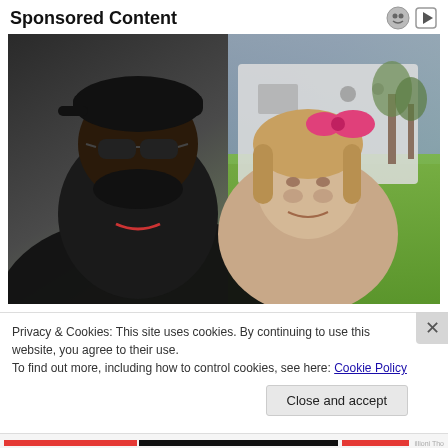Sponsored Content
[Figure (photo): A smiling man wearing sunglasses and a black cap poses with a young girl who has a pink bow in her hair. They are outdoors near a white vehicle with green grass in the background.]
Privacy & Cookies: This site uses cookies. By continuing to use this website, you agree to their use.
To find out more, including how to control cookies, see here: Cookie Policy
Close and accept